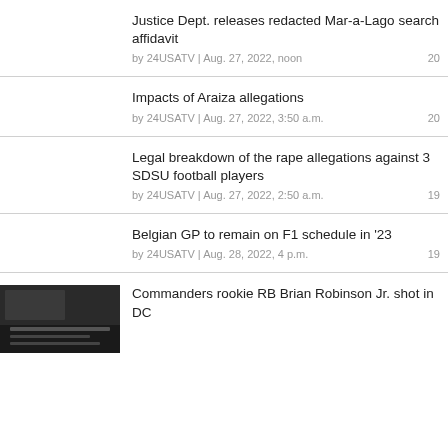Justice Dept. releases redacted Mar-a-Lago search affidavit | by 24USATV | Aug. 27, 2022, noon | 20
Impacts of Araiza allegations | by 24USATV | Aug. 27, 2022, 3:50 a.m. | 20
Legal breakdown of the rape allegations against 3 SDSU football players | by 24USATV | Aug. 27, 2022, 2:50 a.m. | 19
Belgian GP to remain on F1 schedule in '23 | by 24USATV | Aug. 28, 2022, 4 p.m. | 19
Commanders rookie RB Brian Robinson Jr. shot in DC